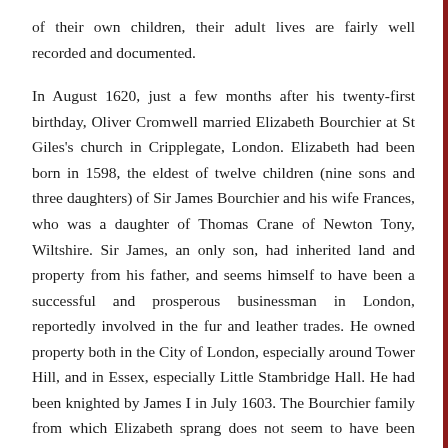of their own children, their adult lives are fairly well recorded and documented.
In August 1620, just a few months after his twenty-first birthday, Oliver Cromwell married Elizabeth Bourchier at St Giles's church in Cripplegate, London. Elizabeth had been born in 1598, the eldest of twelve children (nine sons and three daughters) of Sir James Bourchier and his wife Frances, who was a daughter of Thomas Crane of Newton Tony, Wiltshire. Sir James, an only son, had inherited land and property from his father, and seems himself to have been a successful and prosperous businessman in London, reportedly involved in the fur and leather trades. He owned property both in the City of London, especially around Tower Hill, and in Essex, especially Little Stambridge Hall. He had been knighted by James I in July 1603. The Bourchier family from which Elizabeth sprang does not seem to have been connected with the noble families of that name, including the late